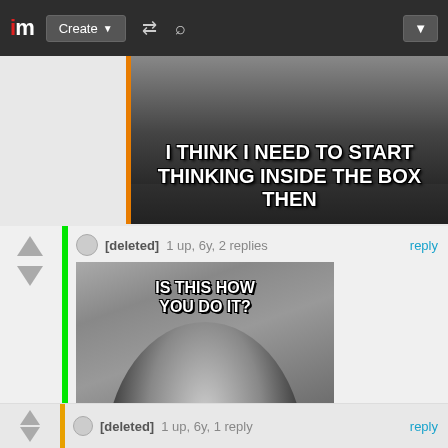im  Create ▼  [shuffle icon]  [search icon]  [dropdown]
[Figure (photo): Meme image showing text 'I THINK I NEED TO START THINKING INSIDE THE BOX THEN' on dark background with person]
[deleted]  1 up, 6y, 2 replies   reply
[Figure (photo): Meme image of man holding a kitten with text 'IS THIS HOW YOU DO IT?']
I think I figured it out. So let's say you have a meme https:// [Show Full Comment] you delete the
[deleted]  1 up, 6y, 1 reply   reply